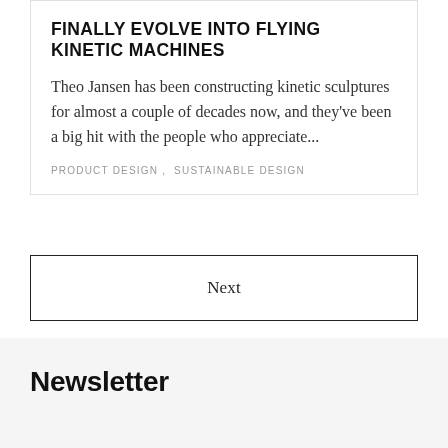FINALLY EVOLVE INTO FLYING KINETIC MACHINES
Theo Jansen has been constructing kinetic sculptures for almost a couple of decades now, and they've been a big hit with the people who appreciate...
PRODUCT DESIGN ,  SUSTAINABLE DESIGN
Next
Newsletter